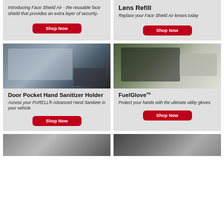Introducing Face Shield Air - the reusable face shield that provides an extra layer of security.
[Figure (other): Shop Now button - red rounded rectangle]
Lens Refill
Replace your Face Shield Air lenses today
[Figure (other): Shop Now button - red rounded rectangle]
[Figure (photo): Person using hand sanitizer on car door pocket]
Door Pocket Hand Sanitizer Holder
Access your PURELL® Advanced Hand Sanitizer in your vehicle
[Figure (other): Shop Now button - red rounded rectangle]
[Figure (photo): Gloved hand holding fuel pump nozzle at gas station]
FuelGlove™
Protect your hands with the ultimate utility gloves
[Figure (other): Shop Now button - red rounded rectangle]
[Figure (photo): Bottom left product photo - partially visible]
[Figure (photo): Bottom right product photo - partially visible]